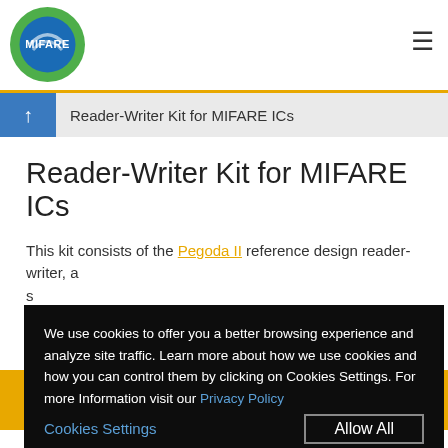Reader-Writer Kit for MIFARE ICs
Reader-Writer Kit for MIFARE ICs
This kit consists of the Pegoda II reference design reader-writer, a s... d... f...
We use cookies to offer you a better browsing experience and analyze site traffic. Learn more about how we use cookies and how you can control them by clicking on Cookies Settings. For more Information visit our Privacy Policy
Allow All
Cookies Settings